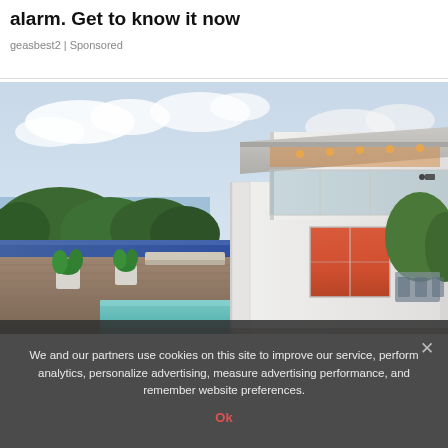alarm. Get to know it now
geasbest2 | Sponsored
[Figure (photo): Modern multi-story luxury house with rooftop deck, pool, wooden decking, potted plants, and ocean/tree views in background. Warm interior lighting visible through glass doors.]
We and our partners use cookies on this site to improve our service, perform analytics, personalize advertising, measure advertising performance, and remember website preferences.
Ok